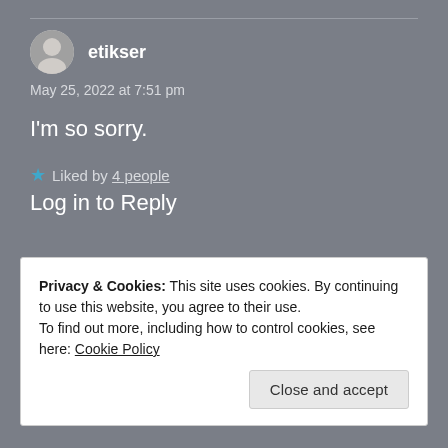etikser
May 25, 2022 at 7:51 pm
I'm so sorry.
Liked by 4 people
Log in to Reply
Privacy & Cookies: This site uses cookies. By continuing to use this website, you agree to their use. To find out more, including how to control cookies, see here: Cookie Policy
Close and accept
Liked by 1 person